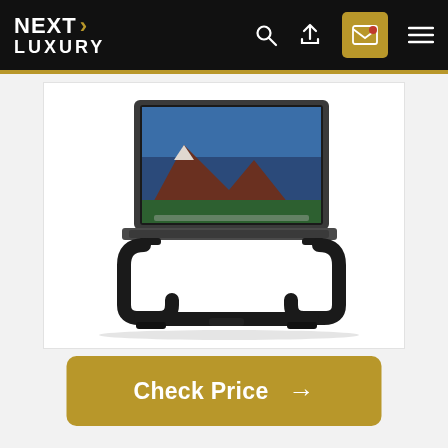NEXT LUXURY
[Figure (photo): Black aluminum laptop stand with a MacBook Pro displayed on it, showing a mountain landscape wallpaper. The stand has curved C-shaped legs and a minimalist design.]
Check Price →